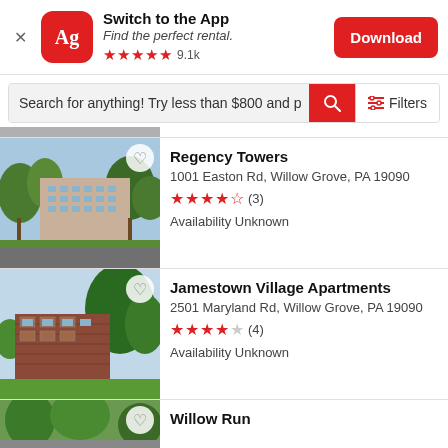[Figure (screenshot): App banner with Apartments.com (Ag) logo, 'Switch to the App' heading, 'Find the perfect rental.' subtitle, 5 red stars with 9.1k rating, and red Download button]
Search for anything! Try less than $800 and p
[Figure (photo): Regency Towers apartment building photo with trees]
Regency Towers
1001 Easton Rd, Willow Grove, PA 19090
★★★★½ (3)
Availability Unknown
[Figure (photo): Jamestown Village Apartments brick building with trees]
Jamestown Village Apartments
2501 Maryland Rd, Willow Grove, PA 19090
★★★★☆ (4)
Availability Unknown
[Figure (photo): Willow Run partial photo at bottom]
Willow Run